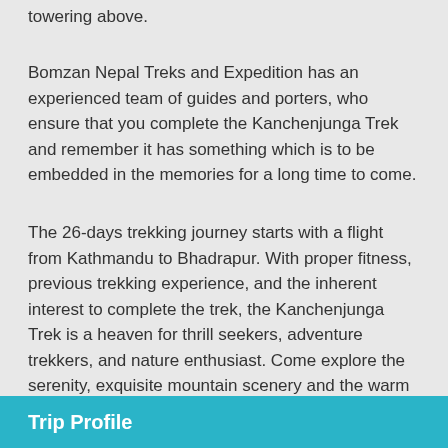towering above.
Bomzan Nepal Treks and Expedition has an experienced team of guides and porters, who ensure that you complete the Kanchenjunga Trek and remember it has something which is to be embedded in the memories for a long time to come.
The 26-days trekking journey starts with a flight from Kathmandu to Bhadrapur. With proper fitness, previous trekking experience, and the inherent interest to complete the trek, the Kanchenjunga Trek is a heaven for thrill seekers, adventure trekkers, and nature enthusiast. Come explore the serenity, exquisite mountain scenery and the warm hospitality of ethnic inhabitants of Nepal with the less trodden yet highly sought out trail of the Kanchenjunga Trek.
Trip Profile